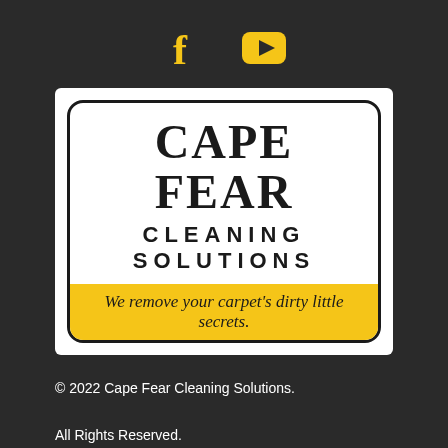[Figure (logo): Social media icons: Facebook (f) and YouTube (play button), both in yellow/gold color on dark background]
[Figure (logo): Cape Fear Cleaning Solutions logo. White rectangle with rounded border. Large serif text 'CAPE FEAR' on top, 'CLEANING SOLUTIONS' below in bold sans-serif, and a yellow banner at bottom reading 'We remove your carpet's dirty little secrets.']
© 2022 Cape Fear Cleaning Solutions.
All Rights Reserved.
Web Design & Digital Marketing by DesignLoud.com